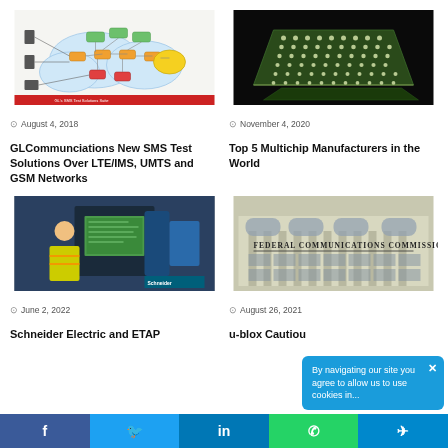[Figure (screenshot): Network diagram showing GL Communications SMS test architecture with nodes for LTE, IMS, UMTS, GSM networks connected by arrows]
August 4, 2018
GLCommunciations New SMS Test Solutions Over LTE/IMS, UMTS and GSM Networks
[Figure (photo): Dark background photo of green circuit board or multichip module with array of solder balls/dots viewed at angle]
November 4, 2020
Top 5 Multichip Manufacturers in the World
[Figure (photo): Worker in yellow safety vest working at computer terminal with Schneider Electric equipment in industrial setting]
June 2, 2022
Schneider Electric and ETAP
[Figure (photo): Photo of Federal Communications Commission building exterior with engraved text]
August 26, 2021
u-blox Cautiou
By navigating our site you agree to allow us to use cookies in...
f  t  in  [whatsapp]  [telegram]